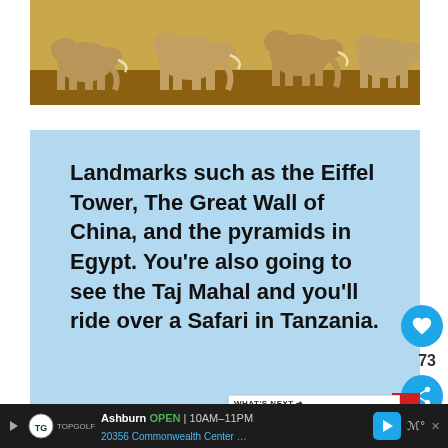[Figure (photo): Herd of elephants walking on a dirt plain, photographed from a low angle]
Landmarks such as the Eiffel Tower, The Great Wall of China, and the pyramids in Egypt. You're also going to see the Taj Mahal and you'll ride over a Safari in Tanzania.
Those are just some of the things you will see. I don't want to ruin the whole
Ashburn OPEN | 10AM–11PM 20356 Commonwealth Center …